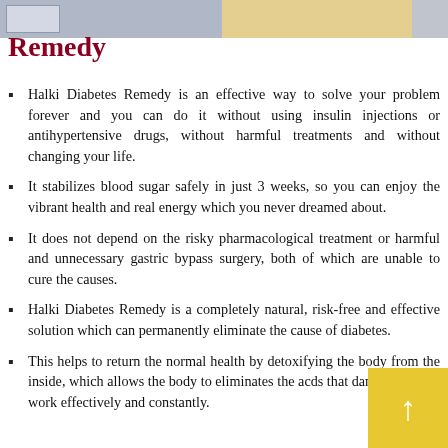Remedy
Halki Diabetes Remedy is an effective way to solve your problem forever and you can do it without using insulin injections or antihypertensive drugs, without harmful treatments and without changing your life.
It stabilizes blood sugar safely in just 3 weeks, so you can enjoy the vibrant health and real energy which you never dreamed about.
It does not depend on the risky pharmacological treatment or harmful and unnecessary gastric bypass surgery, both of which are unable to cure the causes.
Halki Diabetes Remedy is a completely natural, risk-free and effective solution which can permanently eliminate the cause of diabetes.
This helps to return the normal health by detoxifying the body from the inside, which allows the body to eliminates the acids that damage cells to work effectively and constantly.